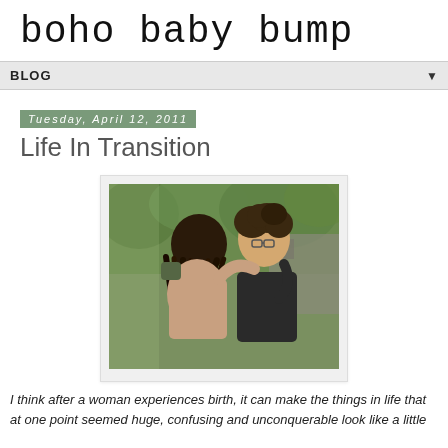boho baby bump
BLOG
Tuesday, April 12, 2011
Life In Transition
[Figure (photo): Two people embracing outdoors. One person with long dreadlocks hugs another person with curly hair and glasses, both outdoors in a green wooded setting.]
I think after a woman experiences birth, it can make the things in life that at one point seemed huge, confusing and unconquerable look like a little